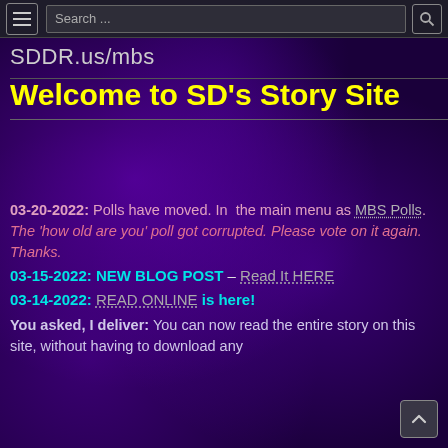Search ...
SDDR.us/mbs
Welcome to SD’s Story Site
03-20-2022: Polls have moved. In the main menu as MBS Polls. The ‘how old are you’ poll got corrupted. Please vote on it again. Thanks.
03-15-2022: NEW BLOG POST – Read It HERE
03-14-2022: READ ONLINE is here!
You asked, I deliver: You can now read the entire story on this site, without having to download any